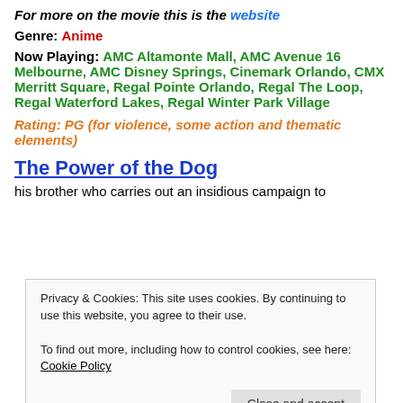For more on the movie this is the website
Genre: Anime
Now Playing: AMC Altamonte Mall, AMC Avenue 16 Melbourne, AMC Disney Springs, Cinemark Orlando, CMX Merritt Square, Regal Pointe Orlando, Regal The Loop, Regal Waterford Lakes, Regal Winter Park Village
Rating: PG (for violence, some action and thematic elements)
The Power of the Dog
his brother who carries out an insidious campaign to
Privacy & Cookies: This site uses cookies. By continuing to use this website, you agree to their use. To find out more, including how to control cookies, see here: Cookie Policy